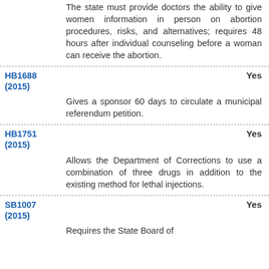The state must provide doctors the ability to give women information in person on abortion procedures, risks, and alternatives; requires 48 hours after individual counseling before a woman can receive the abortion.
HB1688 (2015) — Yes — Gives a sponsor 60 days to circulate a municipal referendum petition.
HB1751 (2015) — Yes — Allows the Department of Corrections to use a combination of three drugs in addition to the existing method for lethal injections.
SB1007 (2015) — Yes — Requires the State Board of